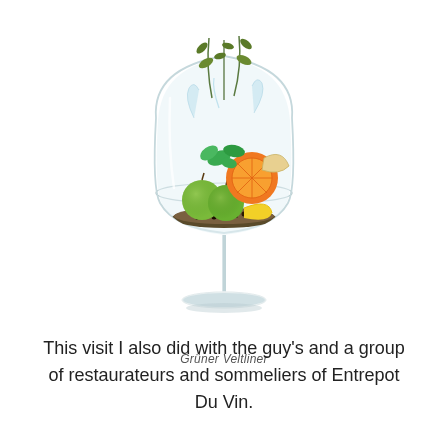[Figure (illustration): A large wine glass (Grüner Veltliner style) filled with green apples, orange slices, lemon, herbs, and spices, with water splashing and plant sprigs emerging from the top. Label below reads 'Grüner Veltliner'.]
Grüner Veltliner
This visit I also did with the guy's and a group of restaurateurs and sommeliers of Entrepot Du Vin.